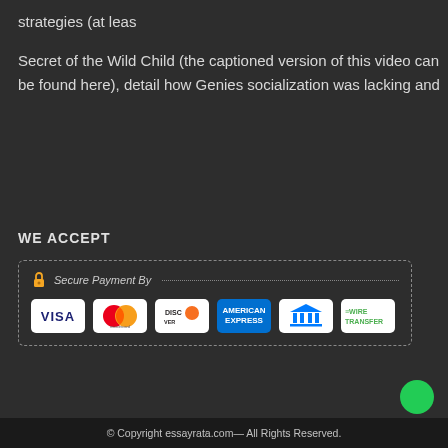strategies (at leas
Secret of the Wild Child (the captioned version of this video can be found here), detail how Genies socialization was lacking and
WE ACCEPT
[Figure (infographic): Secure Payment By panel with dashed border containing payment method logos: VISA, Mastercard, Discover, American Express, bank transfer icon, Wire Transfer]
© Copyright essayrata.com— All Rights Reserved.